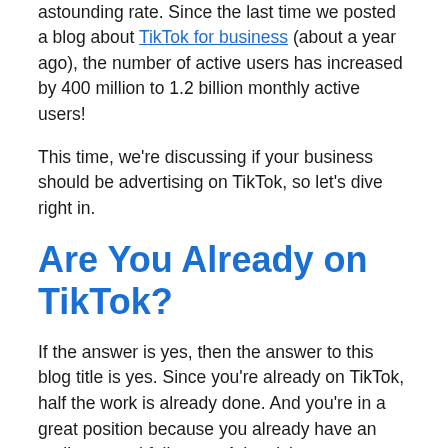astounding rate. Since the last time we posted a blog about TikTok for business (about a year ago), the number of active users has increased by 400 million to 1.2 billion monthly active users!
This time, we're discussing if your business should be advertising on TikTok, so let's dive right in.
Are You Already on TikTok?
If the answer is yes, then the answer to this blog title is yes. Since you're already on TikTok, half the work is already done. And you're in a great position because you already have an audience and followers. Advertising your business on TikTok gives you more exposure to potential customers and repeat customers who already love your products.